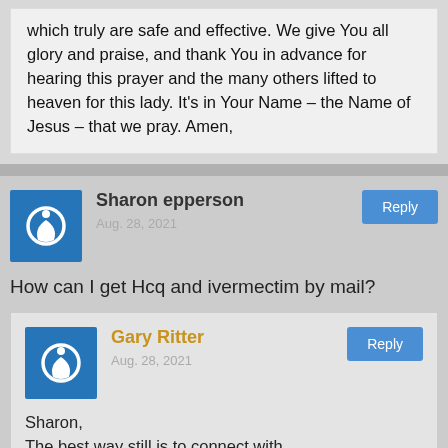which truly are safe and effective. We give You all glory and praise, and thank You in advance for hearing this prayer and the many others lifted to heaven for this lady. It's in Your Name – the Name of Jesus – that we pray. Amen,
Sharon epperson
Aug. 28, 2021
How can I get Hcq and ivermectim by mail?
Gary Ritter
Aug. 28, 2021
Sharon,
The best way still is to connect with speakwithanmd.com. Please read the entire blog article on HCQ and Ivermectin. Be aware of delays that people are currently experiencing – check out the comments